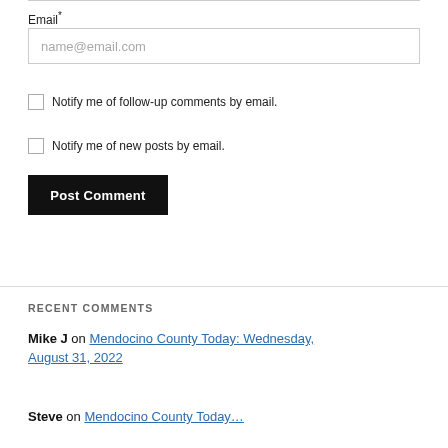Email*
[Figure (other): Email input field with placeholder text name@email.com]
Notify me of follow-up comments by email.
Notify me of new posts by email.
Post Comment
RECENT COMMENTS
Mike J on Mendocino County Today: Wednesday, August 31, 2022
Steve on Mendocino County Today…